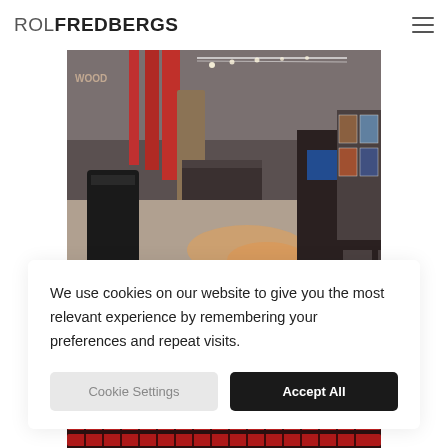ROL FREDBERGS
[Figure (photo): Interior of a cinema lobby/foyer with red vertical panels, grey ceiling with track lighting, ticket counters, movie poster displays on the right wall, and an orange-lit corridor leading to screens]
We use cookies on our website to give you the most relevant experience by remembering your preferences and repeat visits.
[Figure (photo): Rows of red cinema seats viewed from behind, partially visible at the bottom of the page]